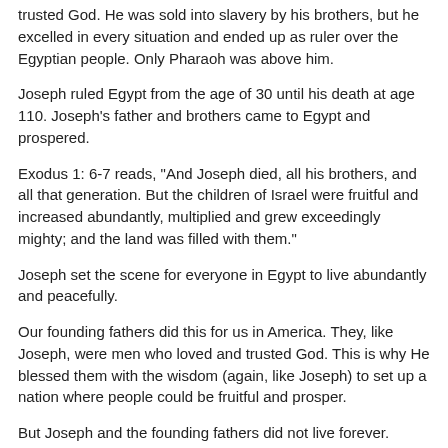trusted God. He was sold into slavery by his brothers, but he excelled in every situation and ended up as ruler over the Egyptian people. Only Pharaoh was above him.
Joseph ruled Egypt from the age of 30 until his death at age 110. Joseph's father and brothers came to Egypt and prospered.
Exodus 1: 6-7 reads, "And Joseph died, all his brothers, and all that generation. But the children of Israel were fruitful and increased abundantly, multiplied and grew exceedingly mighty; and the land was filled with them."
Joseph set the scene for everyone in Egypt to live abundantly and peacefully.
Our founding fathers did this for us in America. They, like Joseph, were men who loved and trusted God. This is why He blessed them with the wisdom (again, like Joseph) to set up a nation where people could be fruitful and prosper.
But Joseph and the founding fathers did not live forever.